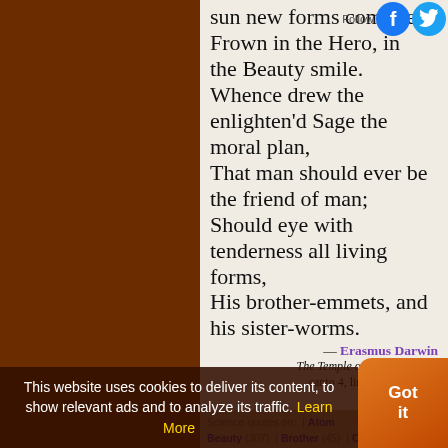sun new forms compile,
Frown in the Hero, in the Beauty smile.
Whence drew the enlighten'd Sage the moral plan,
That man should ever be the friend of man;
Should eye with tenderness all living forms,
His brother-emmets, and his sister-worms.
— Erasmus Darwin
The Temple of Nature (1803), canto 4, lines 417-28, page 163.
Science quotes on: | Atom | Beauty (307) | Brother (45) | Change (617) | Enlighten (30) | Eye (432) | Form (967) | Friend (172) | Hero (43) | Life (1830) | Living (492) | Man (2252)
This website uses cookies to deliver its content, to show relevant ads and to analyze its traffic. Learn More